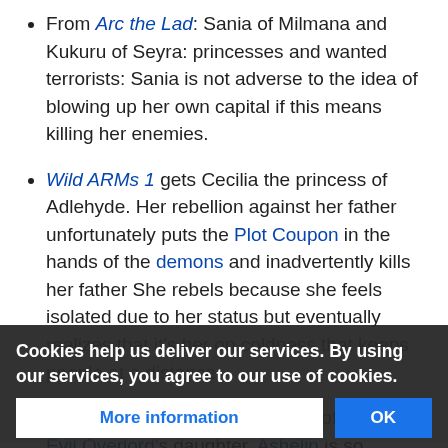From Arc the Lad: Sania of Milmana and Kukuru of Seyra: princesses and wanted terrorists: Sania is not adverse to the idea of blowing up her own capital if this means killing her enemies.
Wild ARMs 1 gets Cecilia the princess of Adlehyde. Her rebellion against her father unfortunately puts the Plot Coupon in the hands of the demons and inadvertently kills her father She rebels because she feels isolated due to her status but eventually realizes that it's her on coldness that keeps people at a distance
While only a "princess" by virtue of being the Evil Overlord's daughter, Ashelin is so rebellious that she helps the movement that's trying to knock her father out of power.
Elsa is only [obscured] Quest for Glory. After being [obscured], she
Cookies help us deliver our services. By using our services, you agree to our use of cookies.